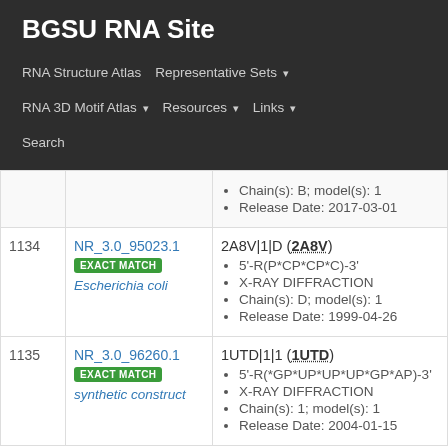BGSU RNA Site
RNA Structure Atlas | Representative Sets ▾ | RNA 3D Motif Atlas ▾ | Resources ▾ | Links ▾ | Search
| # | ID | Details |
| --- | --- | --- |
|  |  | Chain(s): B; model(s): 1
Release Date: 2017-03-01 |
| 1134 | NR_3.0_95023.1
EXACT MATCH
Escherichia coli | 2A8V|1|D (2A8V)
5'-R(P*CP*CP*C)-3'
X-RAY DIFFRACTION
Chain(s): D; model(s): 1
Release Date: 1999-04-26 |
| 1135 | NR_3.0_96260.1
EXACT MATCH
synthetic construct | 1UTD|1|1 (1UTD)
5'-R(*GP*UP*UP*UP*GP*AP)-3'
X-RAY DIFFRACTION
Chain(s): 1; model(s): 1
Release Date: 2004-01-15 |